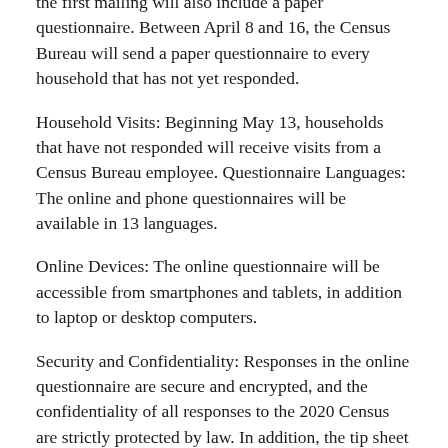the first mailing will also include a paper questionnaire. Between April 8 and 16, the Census Bureau will send a paper questionnaire to every household that has not yet responded.
Household Visits: Beginning May 13, households that have not responded will receive visits from a Census Bureau employee. Questionnaire Languages: The online and phone questionnaires will be available in 13 languages.
Online Devices: The online questionnaire will be accessible from smartphones and tablets, in addition to laptop or desktop computers.
Security and Confidentiality: Responses in the online questionnaire are secure and encrypted, and the confidentiality of all responses to the 2020 Census are strictly protected by law. In addition, the tip sheet highlights resources from the Census Bureau that libraries can share to assist patrons completing the